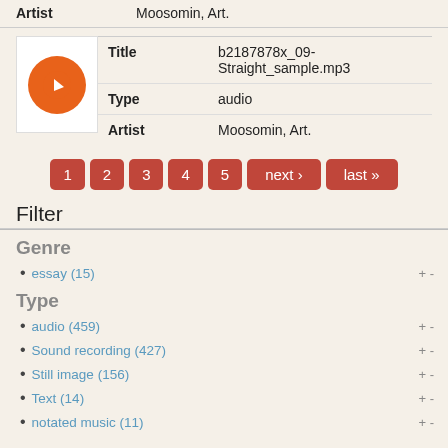| Field | Value |
| --- | --- |
| Artist | Moosomin, Art. |
[Figure (illustration): Orange circle music note icon thumbnail]
| Field | Value |
| --- | --- |
| Title | b2187878x_09-Straight_sample.mp3 |
| Type | audio |
| Artist | Moosomin, Art. |
Pagination: 1 2 3 4 5 next › last »
Filter
Genre
essay (15)
Type
audio (459)
Sound recording (427)
Still image (156)
Text (14)
notated music (11)